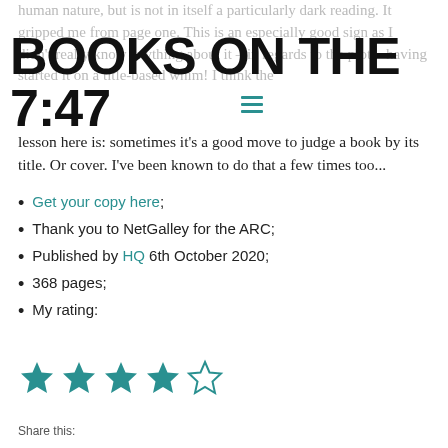BOOKS ON THE 7:47 / BOOK REVIEW BLOG / AUTHOR INTERVIEWS / ALL THINGS BOOKISH
lesson here is: sometimes it's a good move to judge a book by its title. Or cover. I've been known to do that a few times too...
Get your copy here;
Thank you to NetGalley for the ARC;
Published by HQ 6th October 2020;
368 pages;
My rating:
[Figure (other): 4 out of 5 stars rating — four filled teal stars and one empty/outline star]